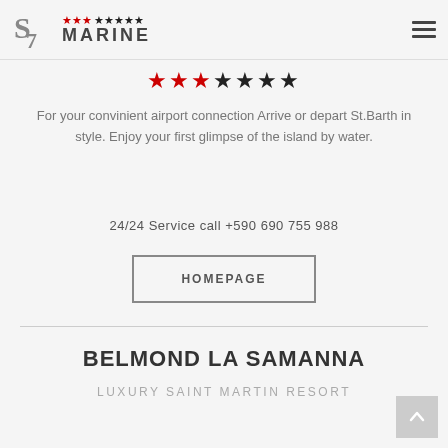S7 Marine ★★★★★★★
[Figure (illustration): Row of stars: 3 red stars, 4 black stars]
For your convinient airport connection Arrive or depart St.Barth in style. Enjoy your first glimpse of the island by water.
24/24 Service call +590 690 755 988
HOMEPAGE
BELMOND LA SAMANNA
LUXURY SAINT MARTIN RESORT